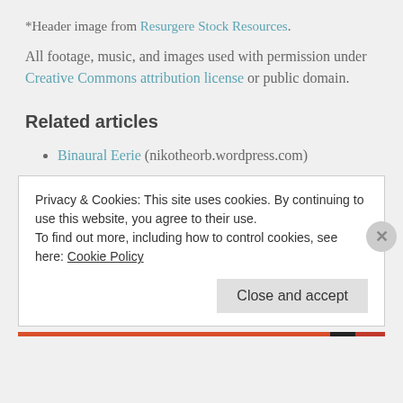*Header image from Resurgere Stock Resources.
All footage, music, and images used with permission under Creative Commons attribution license or public domain.
Related articles
Binaural Eerie (nikotheorb.wordpress.com)
Privacy & Cookies: This site uses cookies. By continuing to use this website, you agree to their use.
To find out more, including how to control cookies, see here: Cookie Policy
Close and accept